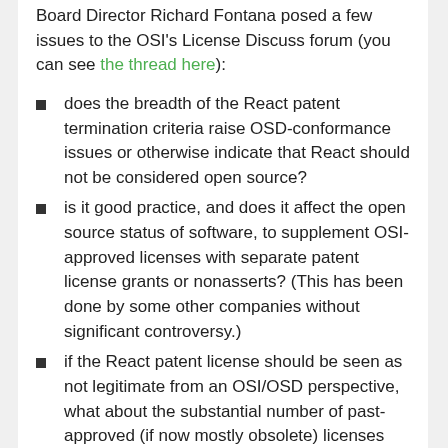Board Director Richard Fontana posed a few issues to the OSI's License Discuss forum (you can see the thread here):
does the breadth of the React patent termination criteria raise OSD-conformance issues or otherwise indicate that React should not be considered open source?
is it good practice, and does it affect the open source status of software, to supplement OSI-approved licenses with separate patent license grants or nonasserts? (This has been done by some other companies without significant controversy.)
if the React patent license should be seen as not legitimate from an OSI/OSD perspective, what about the substantial number of past-approved (if now mostly obsolete) licenses that incorporated patent license grants with comparably broad termination criteria?
should Facebook be encouraged to seek OSI